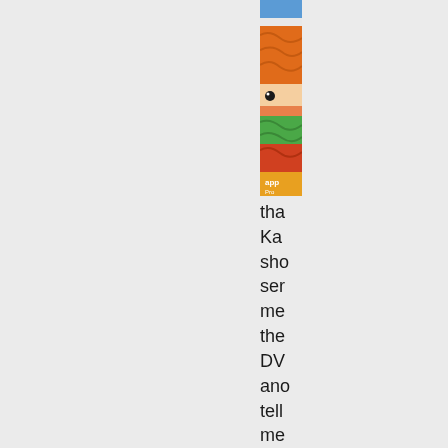[Figure (photo): A narrow vertical strip of a photo showing colorful yarn balls (orange, white, green, red) with what appears to be a cartoon or puppet eye visible, cropped to a thin vertical slice positioned at the center-right of the page.]
tha
Ka
sho
ser
me
the
DV
ano
tell
me
to
wai
it
anc